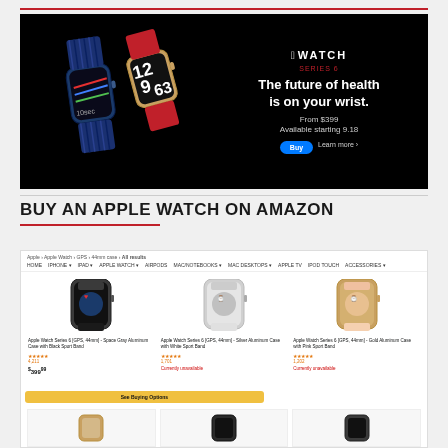[Figure (screenshot): Apple Watch Series 6 advertisement banner on black background showing watches and tagline 'The future of health is on your wrist. From $399. Available starting 9.18.' with Buy and Learn more buttons.]
BUY AN APPLE WATCH ON AMAZON
[Figure (screenshot): Amazon product listing page showing three Apple Watch Series 6 models: Space Gray Aluminum Case with Black Sport Band ($399), Silver Aluminum Case with White Sport Band (Currently unavailable), and Gold Aluminum Case with Pink Sport Band (Currently unavailable). Navigation bar and See Buying Options button visible.]